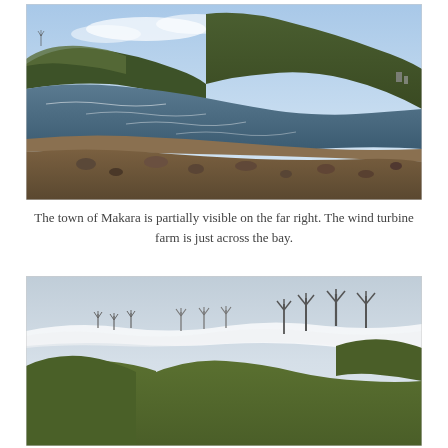[Figure (photo): Coastal bay scene with rocky shoreline, wave-lapped beach, and green hills behind. Wind turbines visible in the far left background. Town of Makara partially visible on the far right.]
The town of Makara is partially visible on the far right. The wind turbine farm is just across the bay.
[Figure (photo): Wind turbine farm on rolling green hills under a cloudy overcast sky. Multiple wind turbines visible across the landscape, with low clouds in the background.]